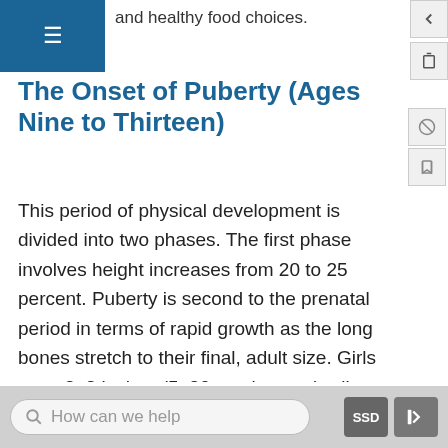and healthy food choices.
The Onset of Puberty (Ages Nine to Thirteen)
This period of physical development is divided into two phases. The first phase involves height increases from 20 to 25 percent. Puberty is second to the prenatal period in terms of rapid growth as the long bones stretch to their final, adult size. Girls grow 2–8 inches (5–20 centimeters) taller, while boys grow 4–12 inches (10–30 centimeters) taller. The second phase involves weight gain related to the development of bone, muscle, and fat tissue. Also in the midst of puberty, the sex hormones trigger the development of reproductive organs and secondary sexual characteristics, such as
How can we help